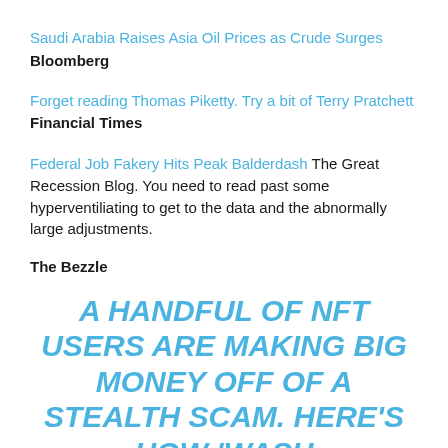Saudi Arabia Raises Asia Oil Prices as Crude Surges
Bloomberg
Forget reading Thomas Piketty. Try a bit of Terry Pratchett
Financial Times
Federal Job Fakery Hits Peak Balderdash The Great Recession Blog. You need to read past some hyperventiliating to get to the data and the abnormally large adjustments.
The Bezzle
A HANDFUL OF NFT USERS ARE MAKING BIG MONEY OFF OF A STEALTH SCAM. HERE'S HOW 'WASH